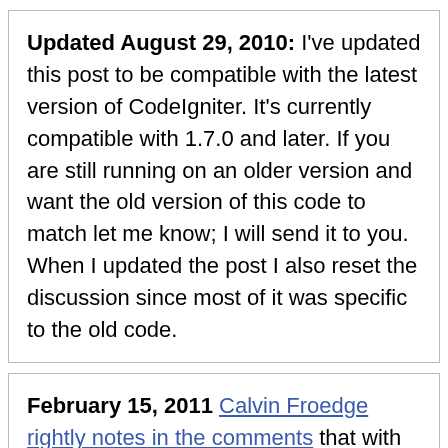Updated August 29, 2010: I've updated this post to be compatible with the latest version of CodeIgniter. It's currently compatible with 1.7.0 and later. If you are still running on an older version and want the old version of this code to match let me know; I will send it to you. When I updated the post I also reset the discussion since most of it was specific to the old code.
February 15, 2011 Calvin Froedge rightly notes in the comments that with the release of CodeIgniter 2.0 the old PHP-4-compatible constructor style no longer works. The code below is updated to reflect that. He also has some thoughts about internationalization with language files and storing the visitor's language in the session variables. This should be back-compatible with old versions CodeIgniter as long as you're running